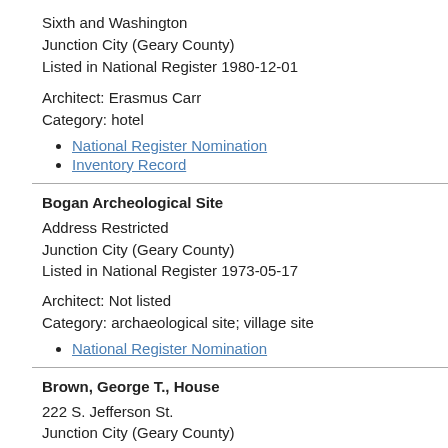Sixth and Washington
Junction City (Geary County)
Listed in National Register 1980-12-01
Architect: Erasmus Carr
Category: hotel
National Register Nomination
Inventory Record
Bogan Archeological Site
Address Restricted
Junction City (Geary County)
Listed in National Register 1973-05-17
Architect: Not listed
Category: archaeological site; village site
National Register Nomination
Brown, George T., House
222 S. Jefferson St.
Junction City (Geary County)